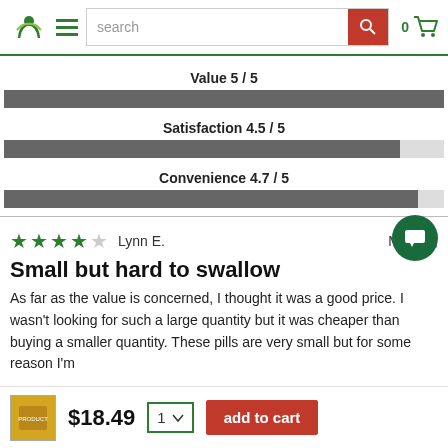[Figure (screenshot): Website header with green logo (leaf/person icon), hamburger menu, search bar, and shopping cart icon with 0 items]
Value 5 / 5
Satisfaction 4.5 / 5
Convenience 4.7 / 5
Lynn E.   May 31,
Small but hard to swallow
As far as the value is concerned, I thought it was a good price. I wasn't looking for such a large quantity but it was cheaper than buying a smaller quantity. These pills are very small but for some reason I'm